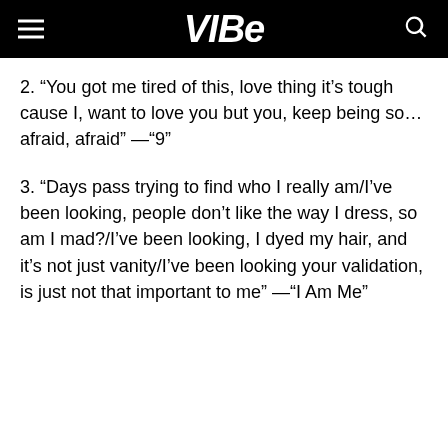VIBE
2. “You got me tired of this, love thing it’s tough cause I, want to love you but you, keep being so… afraid, afraid” —“9”
3. “Days pass trying to find who I really am/I’ve been looking, people don’t like the way I dress, so am I mad?/I’ve been looking, I dyed my hair, and it’s not just vanity/I’ve been looking your validation, is just not that important to me” —“I Am Me”